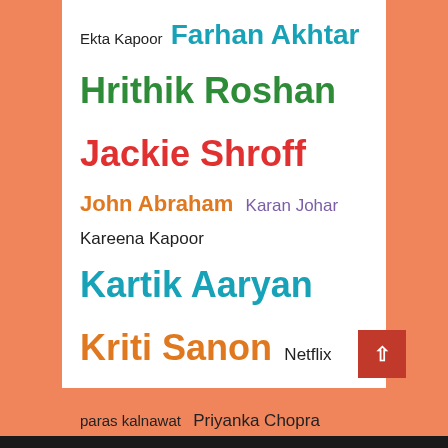[Figure (infographic): Tag cloud of Indian entertainment industry names and platforms, displayed in various colors and font sizes on a white background with an orange/salmon outer background.]
Ekta Kapoor  Farhan Akhtar  Hrithik Roshan  Jackie Shroff  John Abraham  Karan Johar  Kareena Kapoor  Kartik Aaryan  Kriti Sanon  Netflix  paras kalnawat  Priyanka Chopra  Rajan Shahi  Ranveer Singh  Rupali Ganguly  saif ali khan  Salman Khan  Sanjay Dutt  Sara Ali Khan  Shivangi Joshi  Shraddha kapoor  Star Plus  Sudhanshu Pandey  T-Series  Taapsee Pannu  Tiger Shroff.  Varun Dhawan  Yeh Rishta Kya Kehlata Hai  Zee5